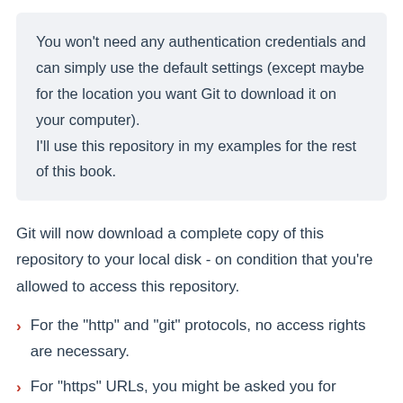You won't need any authentication credentials and can simply use the default settings (except maybe for the location you want Git to download it on your computer).
I'll use this repository in my examples for the rest of this book.
Git will now download a complete copy of this repository to your local disk - on condition that you're allowed to access this repository.
For the "http" and "git" protocols, no access rights are necessary.
For "https" URLs, you might be asked you for